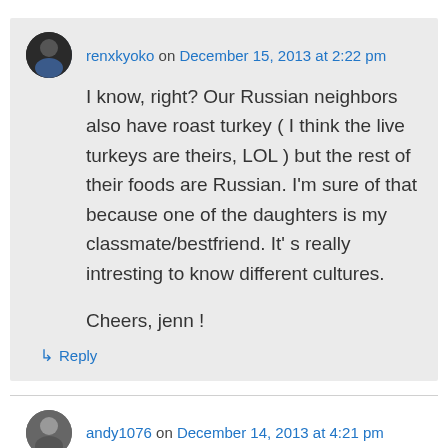renxkyoko on December 15, 2013 at 2:22 pm
I know, right? Our Russian neighbors also have roast turkey ( I think the live turkeys are theirs, LOL ) but the rest of their foods are Russian. I'm sure of that because one of the daughters is my classmate/bestfriend. It' s really intresting to know different cultures.

Cheers, jenn !
↳ Reply
andy1076 on December 14, 2013 at 4:21 pm
The food looks incredible Renx! yum! I chuckled